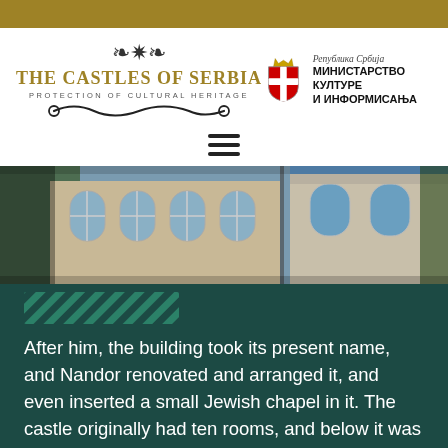THE CASTLES OF SERBIA — PROTECTION OF CULTURAL HERITAGE | Република Србија МИНИСТАРСТВО КУЛТУРЕ И ИНФОРМИСАЊА
[Figure (logo): The Castles of Serbia logo with ornamental scrollwork and subtitle 'Protection of Cultural Heritage', alongside Serbian coat of arms and Ministry of Culture and Information text in Serbian Cyrillic]
[Figure (other): Hamburger/navigation menu icon (three horizontal lines)]
[Figure (photo): Photograph of a castle building exterior showing arched windows and ornate architecture against a blue sky with bare trees]
After him, the building took its present name, and Nandor renovated and arranged it, and even inserted a small Jewish chapel in it. The castle originally had ten rooms, and below it was a large wine cellar.